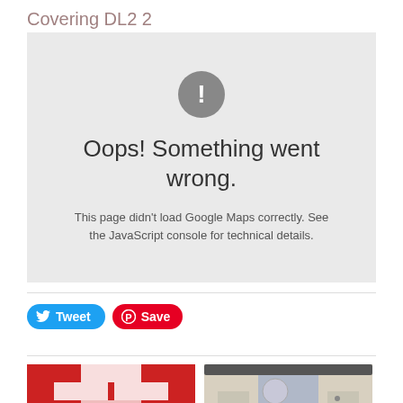Covering DL2 2
[Figure (screenshot): Google Maps error box with grey background showing an exclamation mark icon, 'Oops! Something went wrong.' heading, and message 'This page didn't load Google Maps correctly. See the JavaScript console for technical details.']
Oops! Something went wrong.
This page didn't load Google Maps correctly. See the JavaScript console for technical details.
[Figure (other): Tweet button (blue, with Twitter bird icon) and Save button (red, with Pinterest P icon)]
[Figure (photo): Red and white checkered tile/brick pattern viewed from above]
[Figure (photo): White bungalow house exterior with grey roof and front door]